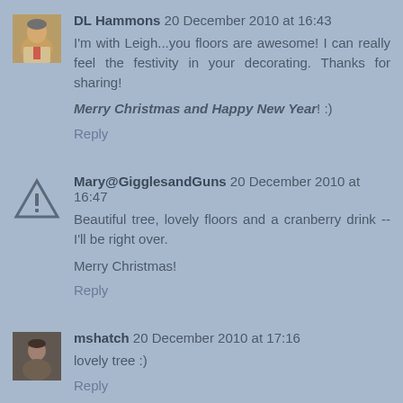DL Hammons 20 December 2010 at 16:43
I'm with Leigh...you floors are awesome! I can really feel the festivity in your decorating. Thanks for sharing!
Merry Christmas and Happy New Year! :)
Reply
Mary@GigglesandGuns 20 December 2010 at 16:47
Beautiful tree, lovely floors and a cranberry drink -- I'll be right over.
Merry Christmas!
Reply
mshatch 20 December 2010 at 17:16
lovely tree :)
Reply